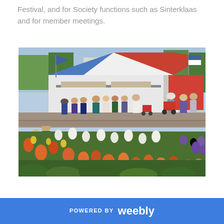Festival, and for Society functions such as Sinterklaas and for member meetings.
[Figure (photo): Outdoor festival scene with a large marquee tent with blue and red/white panels, people walking and browsing stalls, colorful tulip and flower garden beds in the foreground with orange, white, and yellow tulips, purple flowers on the right, sunny day with trees in the background.]
POWERED BY  weebly